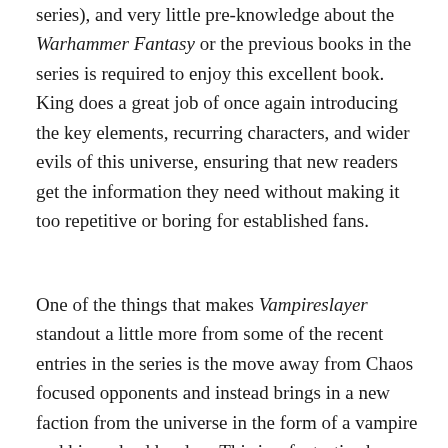series), and very little pre-knowledge about the Warhammer Fantasy or the previous books in the series is required to enjoy this excellent book.  King does a great job of once again introducing the key elements, recurring characters, and wider evils of this universe, ensuring that new readers get the information they need without making it too repetitive or boring for established fans.
One of the things that makes Vampireslayer standout a little more from some of the recent entries in the series is the move away from Chaos focused opponents and instead brings in a new faction from the universe in the form of a vampire and his undead hordes.  This is a fantastic change of pace, and I rather enjoyed seeing